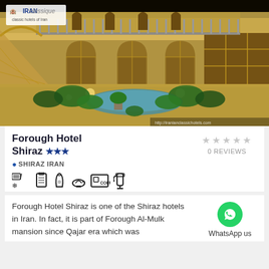[Figure (photo): Nighttime courtyard of a traditional Iranian hotel with lit archways, balconies, staircase, and central pool surrounded by green plants. Stone/brick architecture with warm lighting.]
Forough Hotel Shiraz ★★★
SHIRAZ IRAN
[Figure (infographic): Hotel amenity icons: newspaper/AC, snowflake, luggage, coffee cup, coffee machine, fire extinguisher]
0 REVIEWS
Forough Hotel Shiraz is one of the Shiraz hotels in Iran. In fact, it is part of Forough Al-Mulk mansion since Qajar era which was
WhatsApp us